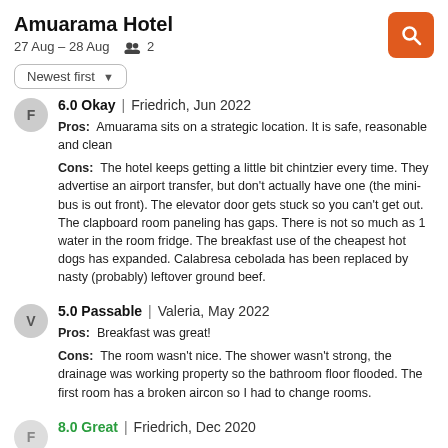Amuarama Hotel
27 Aug – 28 Aug  2
Newest first
6.0 Okay | Friedrich, Jun 2022
Pros: Amuarama sits on a strategic location. It is safe, reasonable and clean
Cons: The hotel keeps getting a little bit chintzier every time. They advertise an airport transfer, but don't actually have one (the mini-bus is out front). The elevator door gets stuck so you can't get out. The clapboard room paneling has gaps. There is not so much as 1 water in the room fridge. The breakfast use of the cheapest hot dogs has expanded. Calabresa cebolada has been replaced by nasty (probably) leftover ground beef.
5.0 Passable | Valeria, May 2022
Pros: Breakfast was great!
Cons: The room wasn't nice. The shower wasn't strong, the drainage was working property so the bathroom floor flooded. The first room has a broken aircon so I had to change rooms.
8.0 Great | Friedrich, Dec 2020